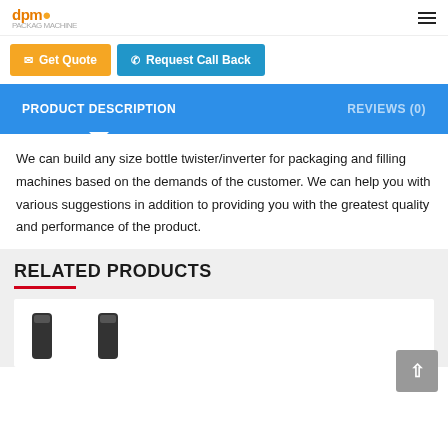dpm
Get Quote   Request Call Back
PRODUCT DESCRIPTION   REVIEWS (0)
We can build any size bottle twister/inverter for packaging and filling machines based on the demands of the customer. We can help you with various suggestions in addition to providing you with the greatest quality and performance of the product.
RELATED PRODUCTS
[Figure (photo): Two dark cylindrical product images partially shown at bottom of page]